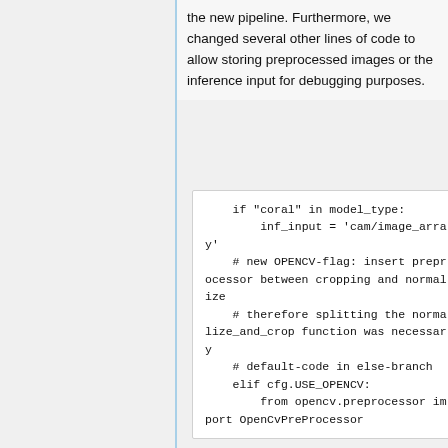the new pipeline. Furthermore, we changed several other lines of code to allow storing preprocessed images or the inference input for debugging purposes.
[Figure (screenshot): Code block showing Python code: if 'coral' in model_type: inf_input = 'cam/image_array' # new OPENCV-flag: insert preprocessor between cropping and normalize # therefore splitting the normalize_and_crop function was necessary # default-code in else-branch elif cfg.USE_OPENCV: from opencv.preprocessor import OpenCvPreProcessor]